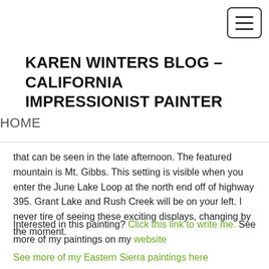[Figure (other): Hamburger menu button icon — three horizontal lines inside a rounded rectangle border]
KAREN WINTERS BLOG – CALIFORNIA IMPRESSIONIST PAINTER
HOME
that can be seen in the late afternoon. The featured mountain is Mt. Gibbs. This setting is visible when you enter the June Lake Loop at the north end off of highway 395. Grant Lake and Rush Creek will be on your left. I never tire of seeing these exciting displays, changing by the moment.
Interested in this painting? Click this link to write me. See more of my paintings on my website
See more of my Eastern Sierra paintings here